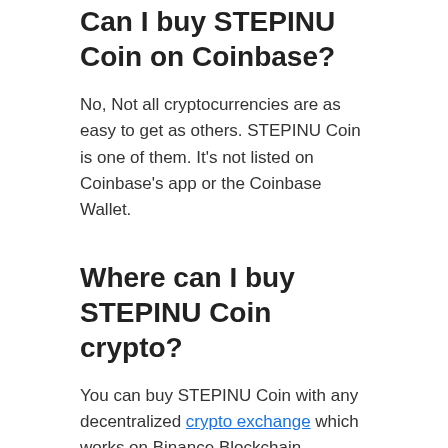Can I buy STEPINU Coin on Coinbase?
No, Not all cryptocurrencies are as easy to get as others. STEPINU Coin is one of them. It's not listed on Coinbase's app or the Coinbase Wallet.
Where can I buy STEPINU Coin crypto?
You can buy STEPINU Coin with any decentralized crypto exchange which works on Binance Blockchain technology.